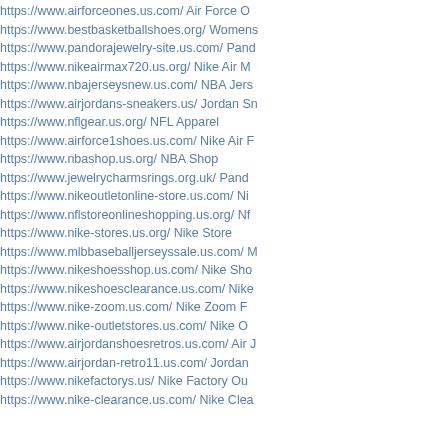https://www.airforceones.us.com/ Air Force O
https://www.bestbasketballshoes.org/ Womens
https://www.pandorajewelry-site.us.com/ Pand
https://www.nikeairmax720.us.org/ Nike Air M
https://www.nbajerseysnew.us.com/ NBA Jers
https://www.airjordans-sneakers.us/ Jordan Sn
https://www.nflgear.us.org/ NFL Apparel
https://www.airforce1shoes.us.com/ Nike Air F
https://www.nbashop.us.org/ NBA Shop
https://www.jewelrycharmsrings.org.uk/ Pand
https://www.nikeoutletonline-store.us.com/ Ni
https://www.nflstoreonlineshopping.us.org/ Nf
https://www.nike-stores.us.org/ Nike Store
https://www.mlbbaseballjerseyssale.us.com/ M
https://www.nikeshoesshop.us.com/ Nike Sho
https://www.nikeshoesclearance.us.com/ Nike
https://www.nike-zoom.us.com/ Nike Zoom F
https://www.nike-outletstores.us.com/ Nike O
https://www.airjordanshoesretros.us.com/ Air J
https://www.airjordan-retro11.us.com/ Jordan
https://www.nikefactorys.us/ Nike Factory Ou
https://www.nike-clearance.us.com/ Nike Clea